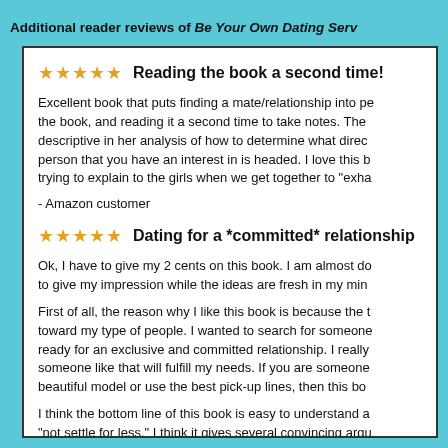Additional reader reviews of Be Your Own Dating Serv...
★★★★★  Reading the book a second time!

Excellent book that puts finding a mate/relationship into pe... the book, and reading it a second time to take notes. The descriptive in her analysis of how to determine what direc... person that you have an interest in is headed. I love this b... trying to explain to the girls when we get together to "exha...
- Amazon customer
★★★★★  Dating for a *committed* relationship

Ok, I have to give my 2 cents on this book. I am almost do... to give my impression while the ideas are fresh in my min...

First of all, the reason why I like this book is because the t... toward my type of people. I wanted to search for someone... ready for an exclusive and committed relationship. I really someone like that will fulfill my needs. If you are someone beautiful model or use the best pick-up lines, then this bo...

I think the bottom line of this book is easy to understand a "not settle for less." I think it gives several convincing argu... dump someone that isn't making us happy. Furthermore,...